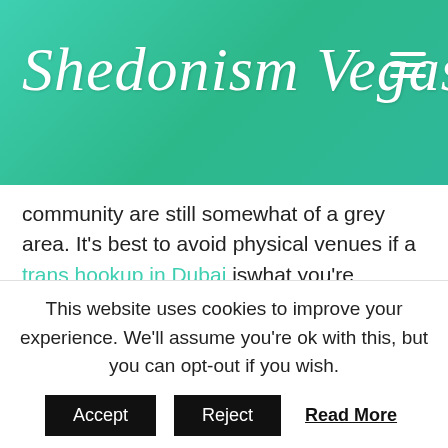Shedonism Vegas
community are still somewhat of a grey area. It's best to avoid physical venues if a trans hookup in Dubai iswhat you're looking for.
Bars and Clubs: Limited Opportunities and High Risk
This website uses cookies to improve your experience. We'll assume you're ok with this, but you can opt-out if you wish.
Accept | Reject | Read More